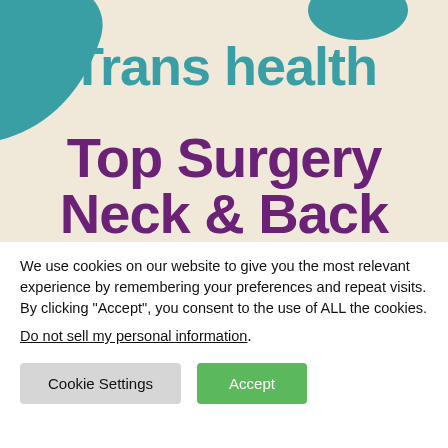[Figure (illustration): Hero banner with beige/cream background and teal blob shapes in corners. Contains the text 'Trans health' in teal and 'Top Surgery Neck & Back' in dark purple.]
Trans health
Top Surgery Neck & Back
We use cookies on our website to give you the most relevant experience by remembering your preferences and repeat visits. By clicking “Accept”, you consent to the use of ALL the cookies.
Do not sell my personal information.
Cookie Settings
Accept